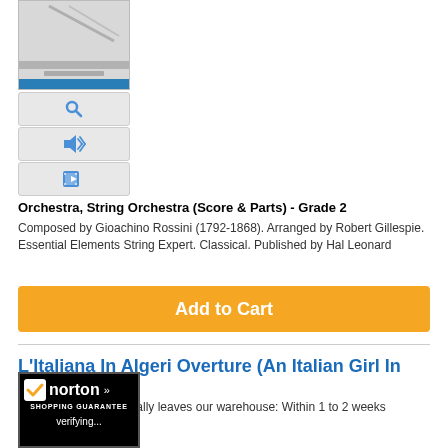[Figure (photo): Book thumbnail image with blue stripe at bottom]
[Figure (other): Search icon button (magnifying glass)]
[Figure (other): Audio icon button (speaker with sound waves)]
[Figure (other): Video icon button (film/play icon)]
Orchestra, String Orchestra (Score & Parts) - Grade 2
Composed by Gioachino Rossini (1792-1868). Arranged by Robert Gillespie. Essential Elements String Expert. Classical. Published by Hal Leonard
[Figure (other): Add to Cart orange button]
L'Italiana In Algeri Overture (An Italian Girl In Algiers)
[Figure (photo): Book cover thumbnail for L'Italiana In Algeri Overture - String Orchestra]
Usually leaves our warehouse: Within 1 to 2 weeks
$56.00$53.20
[Figure (logo): Norton Shopping Guarantee badge with verifying... text]